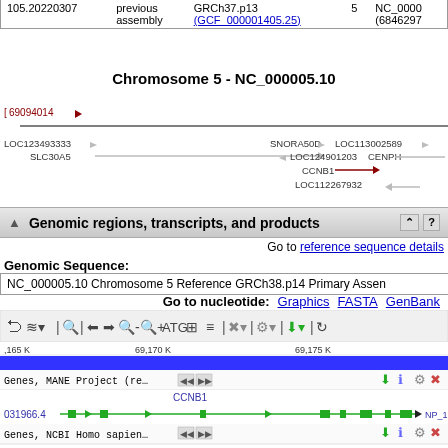| 105.20220307 | previous assembly | GRCh37.p13
(GCF_000001405.25) | 5 | NC_0000
(6846297 |
[Figure (screenshot): NCBI genome browser showing Chromosome 5 - NC_000005.10 with gene map including LOC123493333, SLC30A5, SNORA50D, LOC113002589, LOC124901203, CENPH, CCNB1, LOC112267932]
Genomic regions, transcripts, and products
Go to reference sequence details
Genomic Sequence:
NC_000005.10 Chromosome 5 Reference GRCh38.p14 Primary Assen
Go to nucleotide: Graphics FASTA GenBank
[Figure (screenshot): NCBI genome browser toolbar and gene track viewer showing CCNB1 gene on chromosome 5 at positions 69,165K-69,175K with MANE Project track and NCBI Homo sapiens track]